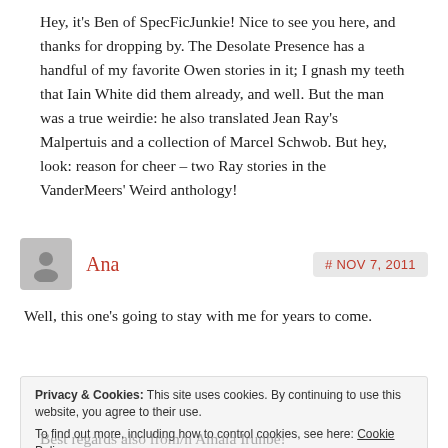Hey, it's Ben of SpecFicJunkie! Nice to see you here, and thanks for dropping by. The Desolate Presence has a handful of my favorite Owen stories in it; I gnash my teeth that Iain White did them already, and well. But the man was a true weirdie: he also translated Jean Ray's Malpertuis and a collection of Marcel Schwob. But hey, look: reason for cheer – two Ray stories in the VanderMeers' Weird anthology!
Ana
# NOV 7, 2011
Well, this one's going to stay with me for years to come.
Privacy & Cookies: This site uses cookies. By continuing to use this website, you agree to their use. To find out more, including how to control cookies, see here: Cookie Policy
Close and accept
Best regards also from/n Amaia Irunbe!